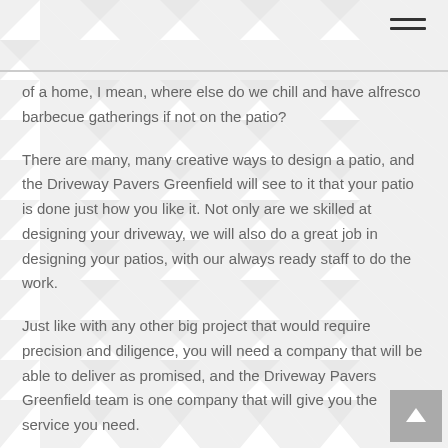of a home, I mean, where else do we chill and have alfresco barbecue gatherings if not on the patio?
There are many, many creative ways to design a patio, and the Driveway Pavers Greenfield will see to it that your patio is done just how you like it. Not only are we skilled at designing your driveway, we will also do a great job in designing your patios, with our always ready staff to do the work.
Just like with any other big project that would require precision and diligence, you will need a company that will be able to deliver as promised, and the Driveway Pavers Greenfield team is one company that will give you the service you need.